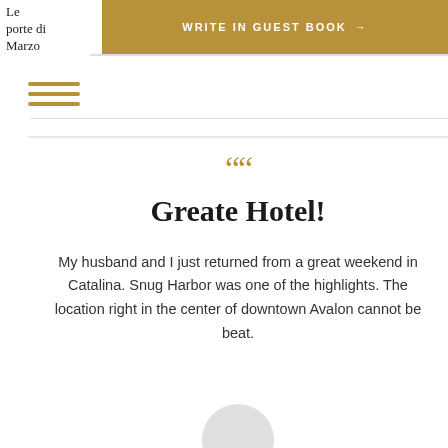[Figure (logo): Le porte di Marzo logo/text in top left corner]
WRITE IN GUEST BOOK →
[Figure (other): Hamburger menu icon with three horizontal golden lines]
““
Greate Hotel!
My husband and I just returned from a great weekend in Catalina. Snug Harbor was one of the highlights. The location right in the center of downtown Avalon cannot be beat.